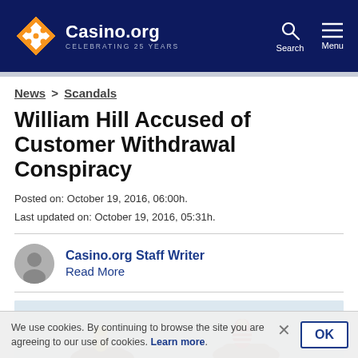Casino.org – CELEBRATING 25 YEARS
News > Scandals
William Hill Accused of Customer Withdrawal Conspiracy
Posted on: October 19, 2016, 06:00h.
Last updated on: October 19, 2016, 05:31h.
Casino.org Staff Writer
Read More
[Figure (photo): Horse racing jockeys competing on horseback, one in red and white striped outfit, another in yellow helmet]
We use cookies. By continuing to browse the site you are agreeing to our use of cookies. Learn more.